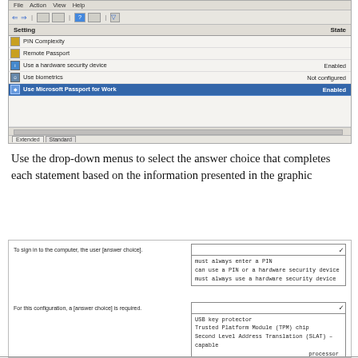[Figure (screenshot): Windows Group Policy settings screenshot showing PIN Complexity, Remote Passport, Use a hardware security device (Enabled), Use biometrics (Not configured), and Use Microsoft Passport for Work (Enabled, highlighted in blue). Bottom shows Extended/Standard tabs and '3 setting(s)' status bar with www.lead2pass.com watermark.]
Use the drop-down menus to select the answer choice that completes each statement based on the information presented in the graphic
[Figure (screenshot): Two drop-down question sections. First: 'To sign in to the computer, the user [answer choice].' with options: 'must always enter a PIN', 'can use a PIN or a hardware security device', 'must always use a hardware security device'. Second: 'For this configuration, a [answer choice] is required.' with options: 'USB key protector', 'Trusted Platform Module (TPM) chip', 'Second Level Address Translation (SLAT) -capable processor'. Watermark: www.lead2pass.com]